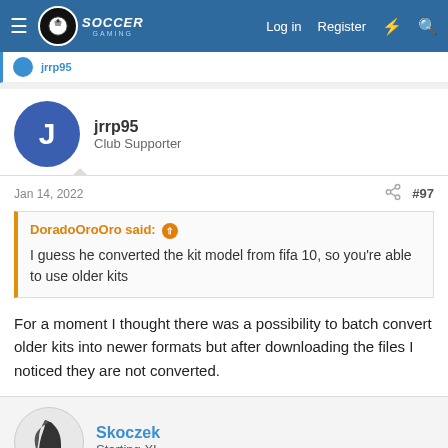Soccer Gaming — Log in | Register
jrrp95 — Club Supporter
Jan 14, 2022  #97
DoradoOroOro said: I guess he converted the kit model from fifa 10, so you're able to use older kits
For a moment I thought there was a possibility to batch convert older kits into newer formats but after downloading the files I noticed they are not converted.
Skoczek — Starting XI